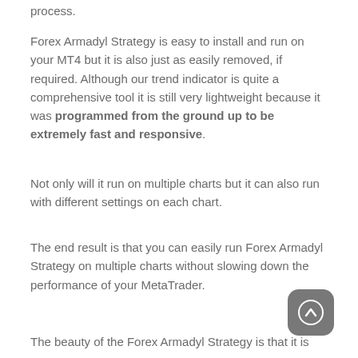process.
Forex Armadyl Strategy is easy to install and run on your MT4 but it is also just as easily removed, if required. Although our trend indicator is quite a comprehensive tool it is still very lightweight because it was programmed from the ground up to be extremely fast and responsive.
Not only will it run on multiple charts but it can also run with different settings on each chart.
The end result is that you can easily run Forex Armadyl Strategy on multiple charts without slowing down the performance of your MetaTrader.
The beauty of the Forex Armadyl Strategy is that it is